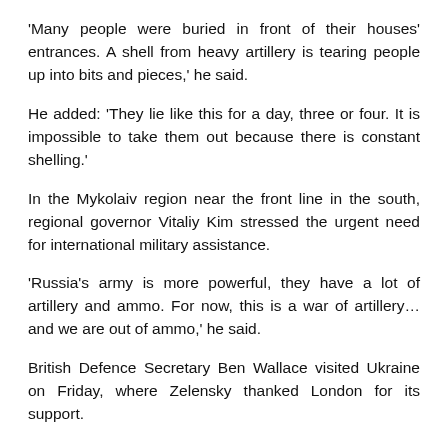'Many people were buried in front of their houses' entrances. A shell from heavy artillery is tearing people up into bits and pieces,' he said.
He added: 'They lie like this for a day, three or four. It is impossible to take them out because there is constant shelling.'
In the Mykolaiv region near the front line in the south, regional governor Vitaliy Kim stressed the urgent need for international military assistance.
'Russia's army is more powerful, they have a lot of artillery and ammo. For now, this is a war of artillery… and we are out of ammo,' he said.
British Defence Secretary Ben Wallace visited Ukraine on Friday, where Zelensky thanked London for its support.